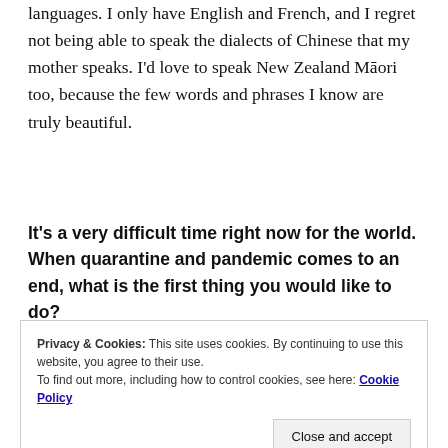languages. I only have English and French, and I regret not being able to speak the dialects of Chinese that my mother speaks. I'd love to speak New Zealand Māori too, because the few words and phrases I know are truly beautiful.
It's a very difficult time right now for the world. When quarantine and pandemic comes to an end, what is the first thing you would like to do?
Privacy & Cookies: This site uses cookies. By continuing to use this website, you agree to their use. To find out more, including how to control cookies, see here: Cookie Policy
Close and accept